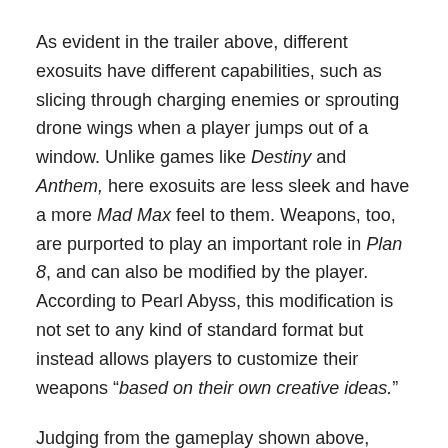As evident in the trailer above, different exosuits have different capabilities, such as slicing through charging enemies or sprouting drone wings when a player jumps out of a window. Unlike games like Destiny and Anthem, here exosuits are less sleek and have a more Mad Max feel to them. Weapons, too, are purported to play an important role in Plan 8, and can also be modified by the player. According to Pearl Abyss, this modification is not set to any kind of standard format but instead allows players to customize their weapons “based on their own creative ideas.”
Judging from the gameplay shown above, there will be a wide variety of different customization options for players in Plan 8, as well as plenty of human versus robot violence. While set firmly in a much more futuristic and science fiction world than Counter-Strike, developer Minh